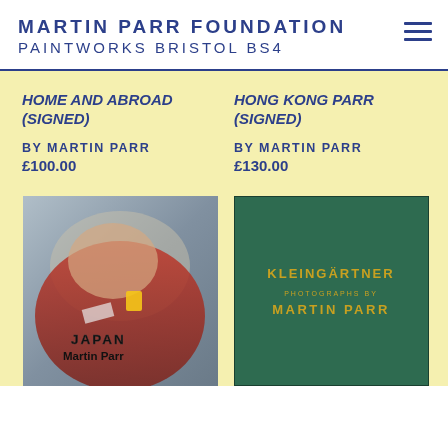MARTIN PARR FOUNDATION PAINTWORKS BRISTOL BS4
HOME AND ABROAD (SIGNED)
BY MARTIN PARR
£100.00
HONG KONG PARR (SIGNED)
BY MARTIN PARR
£130.00
[Figure (photo): Book cover: Japan by Martin Parr, showing a child in a Ferrari shirt lying down]
[Figure (photo): Book cover: Kleingartner, Photographs by Martin Parr. Dark green cover with gold lettering.]